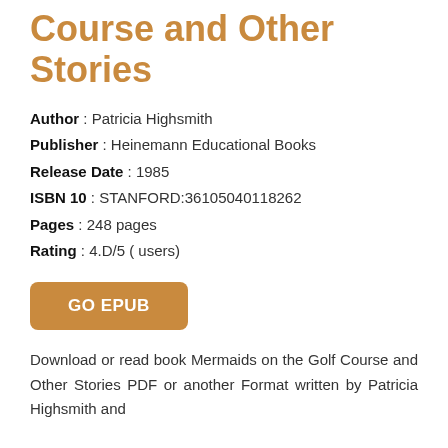Course and Other Stories
Author : Patricia Highsmith
Publisher : Heinemann Educational Books
Release Date : 1985
ISBN 10 : STANFORD:36105040118262
Pages : 248 pages
Rating : 4.D/5 ( users)
GO EPUB
Download or read book Mermaids on the Golf Course and Other Stories PDF or another Format written by Patricia Highsmith and